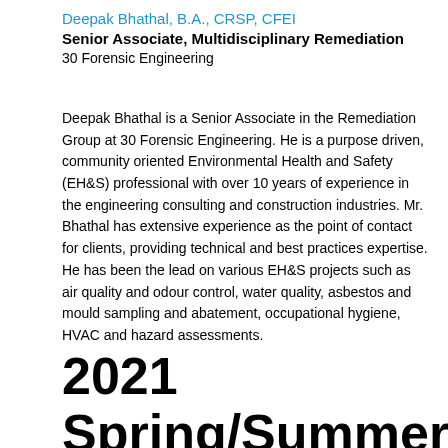Deepak Bhathal, B.A., CRSP, CFEI
Senior Associate, Multidisciplinary Remediation
30 Forensic Engineering
Deepak Bhathal is a Senior Associate in the Remediation Group at 30 Forensic Engineering. He is a purpose driven, community oriented Environmental Health and Safety (EH&S) professional with over 10 years of experience in the engineering consulting and construction industries. Mr. Bhathal has extensive experience as the point of contact for clients, providing technical and best practices expertise. He has been the lead on various EH&S projects such as air quality and odour control, water quality, asbestos and mould sampling and abatement, occupational hygiene, HVAC and hazard assessments.
2021 Spring/Summer Seminar Series at a